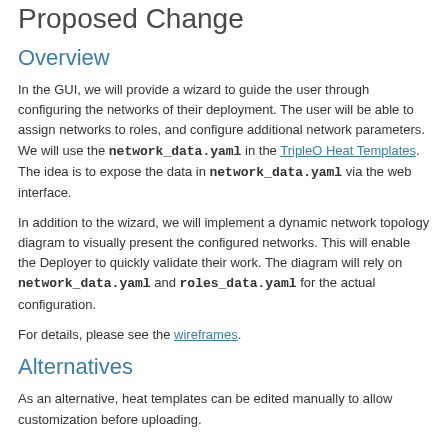Proposed Change
Overview
In the GUI, we will provide a wizard to guide the user through configuring the networks of their deployment. The user will be able to assign networks to roles, and configure additional network parameters. We will use the network_data.yaml in the TripleO Heat Templates. The idea is to expose the data in network_data.yaml via the web interface.
In addition to the wizard, we will implement a dynamic network topology diagram to visually present the configured networks. This will enable the Deployer to quickly validate their work. The diagram will rely on network_data.yaml and roles_data.yaml for the actual configuration.
For details, please see the wireframes.
Alternatives
As an alternative, heat templates can be edited manually to allow customization before uploading.